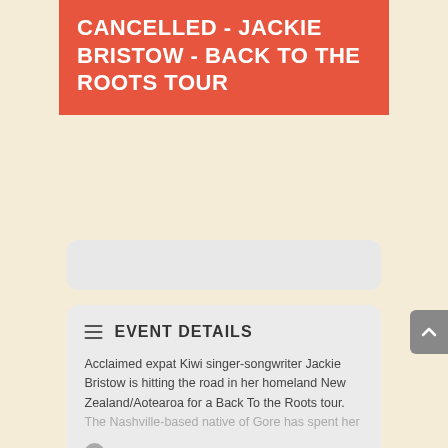CANCELLED - JACKIE BRISTOW - BACK TO THE ROOTS TOUR
EVENT DETAILS
Acclaimed expat Kiwi singer-songwriter Jackie Bristow is hitting the road in her homeland New Zealand/Aotearoa for a Back To the Roots tour. The Nashville-based native of Gore has spent her nose outside the United States...